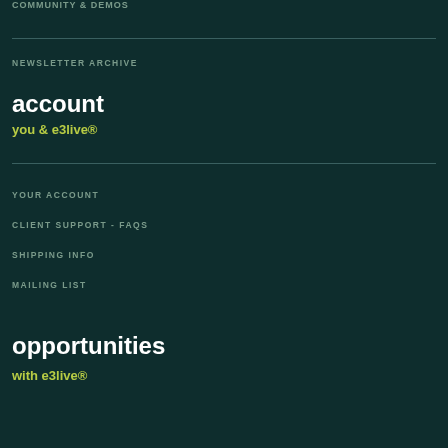COMMUNITY & DEMOS
NEWSLETTER ARCHIVE
account
you & e3live®
YOUR ACCOUNT
CLIENT SUPPORT - FAQS
SHIPPING INFO
MAILING LIST
opportunities
with e3live®